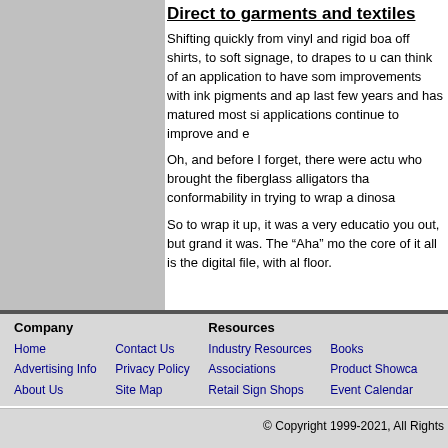Direct to garments and textiles
Shifting quickly from vinyl and rigid boa off shirts, to soft signage, to drapes to u can think of an application to have som improvements with ink pigments and ap last few years and has matured most si applications continue to improve and e
Oh, and before I forget, there were actu who brought the fiberglass alligators tha conformability in trying to wrap a dinosa
So to wrap it up, it was a very educatio you out, but grand it was. The “Aha” mo the core of it all is the digital file, with al floor.
Company | Home | Advertising Info | About Us | Contact Us | Privacy Policy | Site Map | Resources | Industry Resources | Associations | Retail Sign Shops | Books | Product Showca | Event Calendar
© Copyright 1999-2021, All Rights